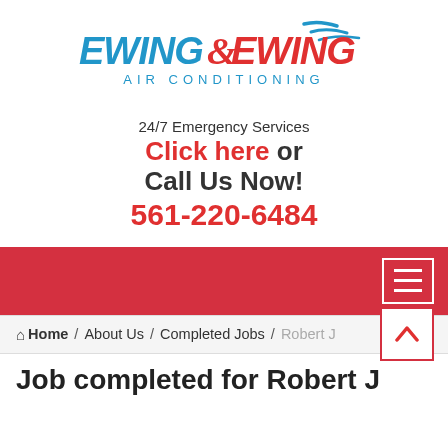[Figure (logo): Ewing & Ewing Air Conditioning logo — bold stylized text 'EWING&EWING' in red and blue with wind swoosh marks, subtitle 'AIR CONDITIONING' in spaced blue caps]
24/7 Emergency Services
Click here or Call Us Now! 561-220-6484
[Figure (other): Red navigation bar with hamburger menu button (three horizontal white lines in white-bordered box) on the right side]
Home / About Us / Completed Jobs / Robert J
Job completed for Robert J